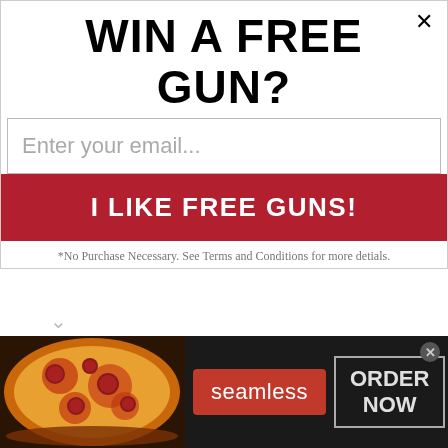WIN A FREE GUN?
Enter your email...
I LIKE FREE GUNS!
*No Purchase Necessary. See Terms and Conditions for more detials.
I suppose that could be as I do not know him personally. I only know of his writings. I have a couple of his books and have found them infromitive.
Shoots Running
New member
[Figure (screenshot): Seamless food delivery advertisement banner showing pizza image on left, red Seamless button in center, and ORDER NOW button on right with dark background]